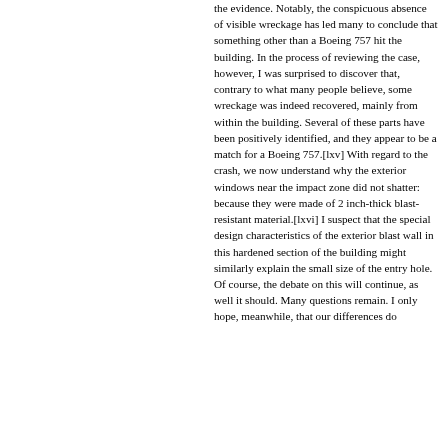the evidence. Notably, the conspicuous absence of visible wreckage has led many to conclude that something other than a Boeing 757 hit the building. In the process of reviewing the case, however, I was surprised to discover that, contrary to what many people believe, some wreckage was indeed recovered, mainly from within the building. Several of these parts have been positively identified, and they appear to be a match for a Boeing 757.[lxv] With regard to the crash, we now understand why the exterior windows near the impact zone did not shatter: because they were made of 2 inch-thick blast-resistant material.[lxvi] I suspect that the special design characteristics of the exterior blast wall in this hardened section of the building might similarly explain the small size of the entry hole. Of course, the debate on this will continue, as well it should. Many questions remain. I only hope, meanwhile, that our differences do